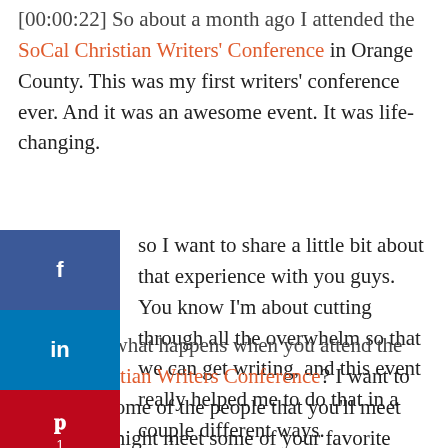[00:00:22] So about a month ago I attended the SoCal Christian Writers' Conference in Orange County. This was my first writers' conference ever. And it was an awesome event. It was life-changing. so I want to share a little bit about that experience with you guys. You know I'm about cutting through all the overwhelm so that we can get writing, and this event really helped me to do that in a couple different ways.
[Figure (other): Social media share buttons sidebar: Facebook (blue), LinkedIn (blue), Pinterest (red, 1 share), Twitter (light blue), Email (gray)]
[00:47] So what happens when you attend the SoCal Christian Writers Conference? I want to talk about some of the people that you'll meet there. You might meet some of your favorite authors, and you might find some new favorites. I was really excited to get to hang out with Chautona Havig